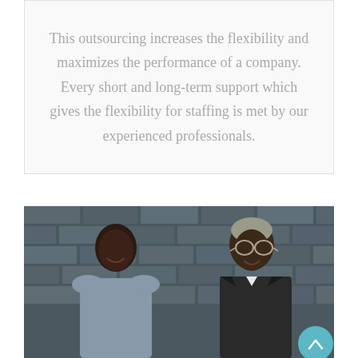This outsourcing increases the flexibility and maximizes the performance of a company. Every short and long-term support which gives the flexibility for staffing is met by our experienced professionals.
[Figure (photo): Two men smiling and engaging in conversation in front of a dark brick wall. The man on the left is wearing a checkered shirt, and the man on the right is wearing glasses and a dark suit.]